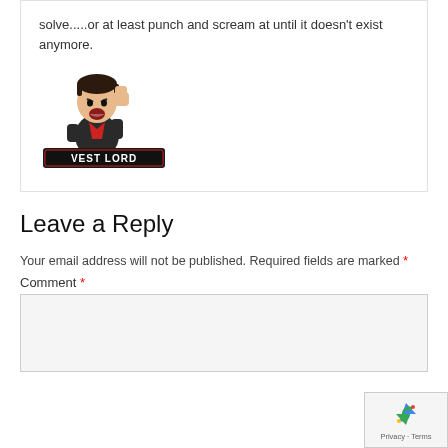solve.....or at least punch and scream at until it doesn't exist anymore.
[Figure (illustration): Chibi cartoon character with fist raised, wearing dark jacket, with 'VEST LORD' text logo below on a dark banner background]
Leave a Reply
Your email address will not be published. Required fields are marked *
Comment *
[Figure (logo): Google reCAPTCHA badge in bottom right corner with recycling arrows icon and 'Privacy - Terms' text]